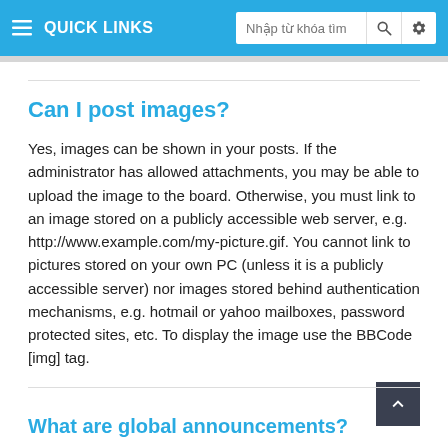≡ QUICK LINKS  [search box: Nhập từ khóa tìm] [search icon] [settings icon]
Can I post images?
Yes, images can be shown in your posts. If the administrator has allowed attachments, you may be able to upload the image to the board. Otherwise, you must link to an image stored on a publicly accessible web server, e.g. http://www.example.com/my-picture.gif. You cannot link to pictures stored on your own PC (unless it is a publicly accessible server) nor images stored behind authentication mechanisms, e.g. hotmail or yahoo mailboxes, password protected sites, etc. To display the image use the BBCode [img] tag.
What are global announcements?